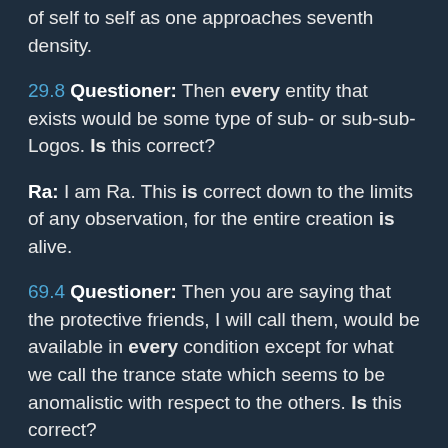of self to self as one approaches seventh density.
29.8 Questioner: Then every entity that exists would be some type of sub- or sub-sub-Logos. Is this correct?
Ra: I am Ra. This is correct down to the limits of any observation, for the entire creation is alive.
69.4 Questioner: Then you are saying that the protective friends, I will call them, would be available in every condition except for what we call the trance state which seems to be anomalistic with respect to the others. Is this correct?
Ra: I am Ra. This is correct.
16.58 Questioner: Do they ever use any, shall I say, gratifications of the physical body to amplify such daydreams?